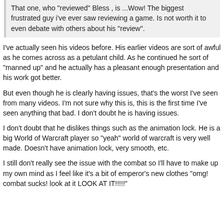That one, who "reviewed" Bless , is ...Wow! The biggest frustrated guy i've ever saw reviewing a game. Is not worth it to even debate with others about his "review".
I've actually seen his videos before. His earlier videos are sort of awful as he comes across as a petulant child. As he continued he sort of "manned up" and he actually has a pleasant enough presentation and his work got better.
But even though he is clearly having issues, that's the worst I've seen from many videos. I'm not sure why this is, this is the first time I've seen anything that bad. I don't doubt he is having issues.
I don't doubt that he dislikes things such as the animation lock. He is a big World of Warcraft player so "yeah" world of warcraft is very well made. Doesn't have animation lock, very smooth, etc.
I still don't really see the issue with the combat so I'll have to make up my own mind as I feel like it's a bit of emperor's new clothes "omg! combat sucks! look at it LOOK AT IT!!!!!"